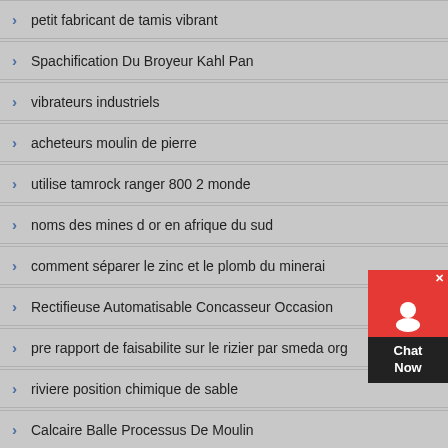petit fabricant de tamis vibrant
Spachification Du Broyeur Kahl Pan
vibrateurs industriels
acheteurs moulin de pierre
utilise tamrock ranger 800 2 monde
noms des mines d or en afrique du sud
comment séparer le zinc et le plomb du minerai
Rectifieuse Automatisable Concasseur Occasion
pre rapport de faisabilite sur le rizier par smeda org
riviere position chimique de sable
Calcaire Balle Processus De Moulin